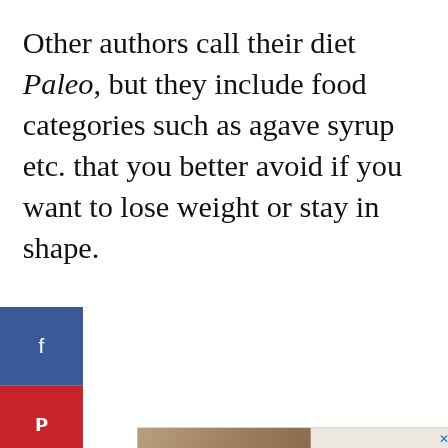Other authors call their diet Paleo, but they include food categories such as agave syrup etc. that you better avoid if you want to lose weight or stay in shape.
[Figure (infographic): Social media sharing sidebar with Facebook (blue), Pinterest (red), Twitter (light blue), Reddit (orange), and Email (green) buttons.]
[Figure (infographic): Advertisement banner showing group of people with arms around each other with text 'We Stand Together' and a close button.]
[Figure (infographic): Action buttons: heart/like button showing count of 5, and a share button.]
[Figure (infographic): What's Next section with a circular swimming thumbnail and text 'WHAT'S NEXT → Favorite Swimming...']
[Figure (infographic): Bottom advertisement banner: 'From Hello to Help, 211 is Here' with subtitle 'Food • Housing' and a close button.]